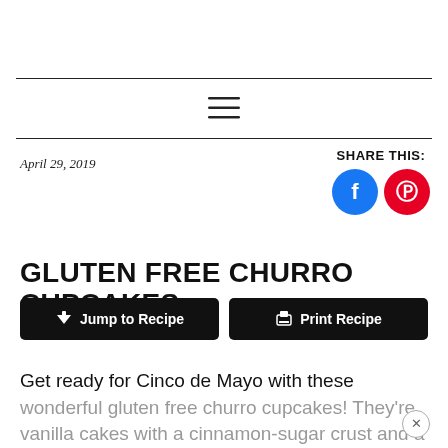[Figure (other): Hamburger menu icon (three horizontal lines)]
April 29, 2019
SHARE THIS:
[Figure (other): Facebook share button (blue circle with f icon) and Pinterest share button (red circle with P icon)]
GLUTEN FREE CHURRO CUPCAKES
Jump to Recipe
Print Recipe
Get ready for Cinco de Mayo with these wonderful gluten free churro cupcakes! They're vanilla cakes with a cinnamon-sugar crust and a luxurious cinnamon cream...